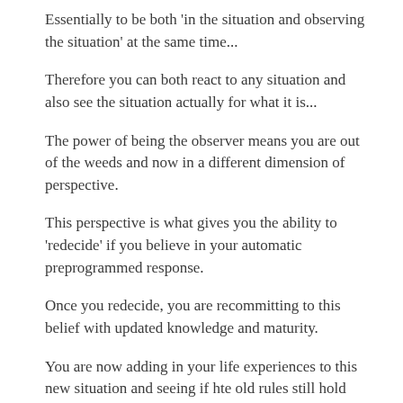Essentially to be both 'in the situation and observing the situation' at the same time...
Therefore you can both react to any situation and also see the situation actually for what it is...
The power of being the observer means you are out of the weeds and now in a different dimension of perspective.
This perspective is what gives you the ability to 'redecide' if you believe in your automatic preprogrammed response.
Once you redecide, you are recommitting to this belief with updated knowledge and maturity.
You are now adding in your life experiences to this new situation and seeing if hte old rules still hold true.